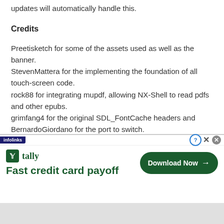updates will automatically handle this.
Credits
Preetisketch for some of the assets used as well as the banner.
StevenMattera for the implementing the foundation of all touch-screen code.
rock88 for integrating mupdf, allowing NX-Shell to read pdfs and other epubs.
grimfang4 for the original SDL_FontCache headers and BernardoGiordano for the port to switch.
Links & Downloads
[Figure (screenshot): Advertisement banner for Tally app: 'Fast credit card payoff' with Download Now button. Infolinks badge visible. Close/question icons in top right.]